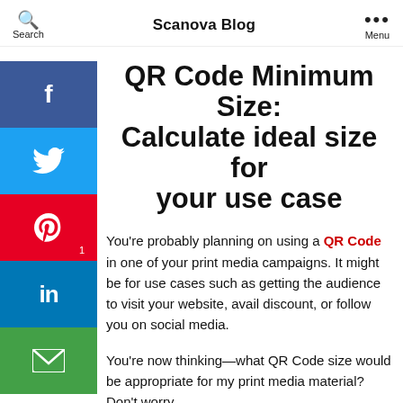Search  Scanova Blog  Menu
QR Code Minimum Size: Calculate ideal size for your use case
You're probably planning on using a QR Code in one of your print media campaigns. It might be for use cases such as getting the audience to visit your website, avail discount, or follow you on social media.
You're now thinking—what QR Code size would be appropriate for my print media material? Don't worry. You can start here.